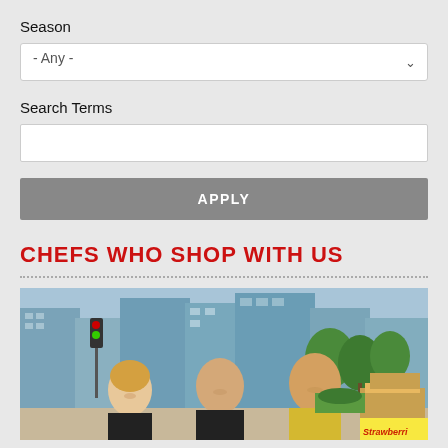Season
- Any -
Search Terms
APPLY
CHEFS WHO SHOP WITH US
[Figure (photo): Three people smiling at an outdoor farmers market with a city skyline in the background. There are produce boxes including strawberries visible. Trees and traffic lights are also in the background.]